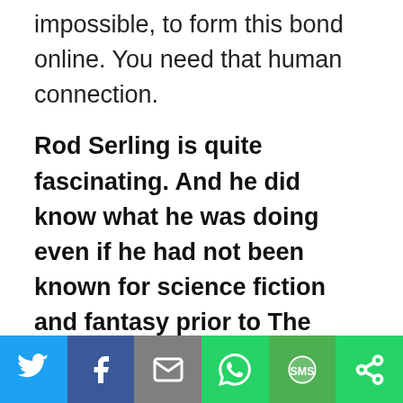impossible, to form this bond online. You need that human connection.
Rod Serling is quite fascinating. And he did know what he was doing even if he had not been known for science fiction and fantasy prior to The Twilight Zone.